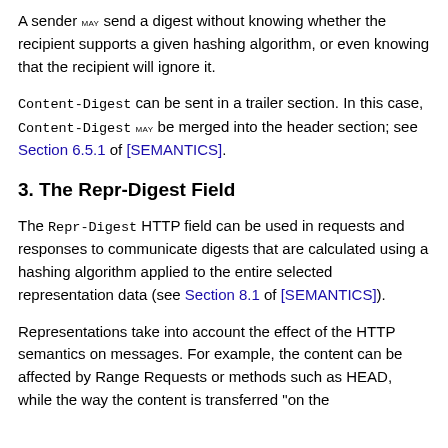A sender MAY send a digest without knowing whether the recipient supports a given hashing algorithm, or even knowing that the recipient will ignore it.
Content-Digest can be sent in a trailer section. In this case, Content-Digest MAY be merged into the header section; see Section 6.5.1 of [SEMANTICS].
3. The Repr-Digest Field
The Repr-Digest HTTP field can be used in requests and responses to communicate digests that are calculated using a hashing algorithm applied to the entire selected representation data (see Section 8.1 of [SEMANTICS]).
Representations take into account the effect of the HTTP semantics on messages. For example, the content can be affected by Range Requests or methods such as HEAD, while the way the content is transferred "on the